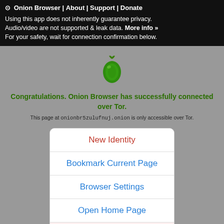⊙ Onion Browser | About | Support | Donate
Using this app does not inherently guarantee privacy. Audio/video are not supported & leak data. More info »
For your safety, wait for connection confirmation below.
[Figure (logo): Green onion logo icon for Tor/Onion Browser]
Congratulations. Onion Browser has successfully connected over Tor.
This page at onionbr5zulufnuj.onion is only accessible over Tor.
New Identity
Bookmark Current Page
Browser Settings
Open Home Page
About Onion Browser
Help / Support